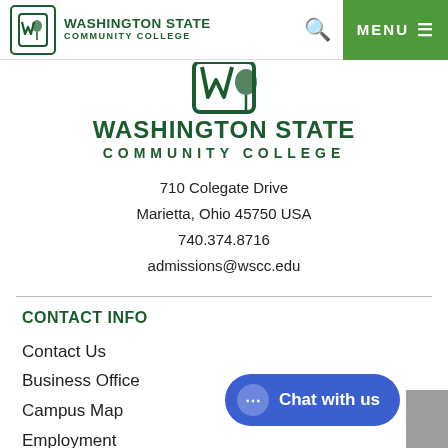WASHINGTON STATE COMMUNITY COLLEGE — navigation header with search and MENU button
[Figure (logo): Washington State Community College large logo — partial crop showing lower portion of square logo mark and full institution name]
710 Colegate Drive
Marietta, Ohio 45750 USA
740.374.8716
admissions@wscc.edu
CONTACT INFO
Contact Us
Business Office
Campus Map
Employment
Faculty & Staff
[Figure (other): Blue chat bubble widget with text 'Chat with us']